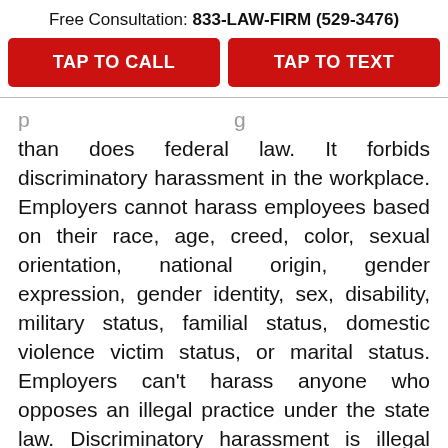Free Consultation: 833-LAW-FIRM (529-3476)
TAP TO CALL
TAP TO TEXT
than does federal law. It forbids discriminatory harassment in the workplace. Employers cannot harass employees based on their race, age, creed, color, sexual orientation, national origin, gender expression, gender identity, sex, disability, military status, familial status, domestic violence victim status, or marital status. Employers can't harass anyone who opposes an illegal practice under the state law. Discriminatory harassment is illegal under the New York State Human Rights Law when it results in a person facing inferior terms, conditions or privileges of employment, which